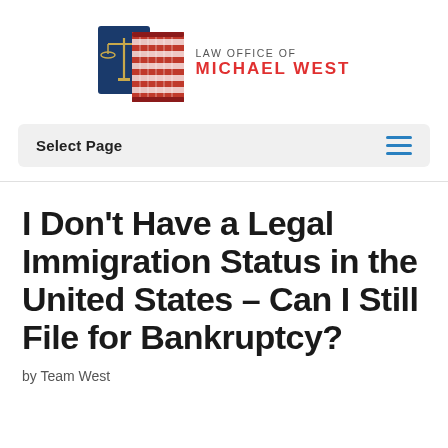[Figure (logo): Law Office of Michael West logo with scales of justice and column icons in blue and red]
Select Page
I Don't Have a Legal Immigration Status in the United States – Can I Still File for Bankruptcy?
by Team West